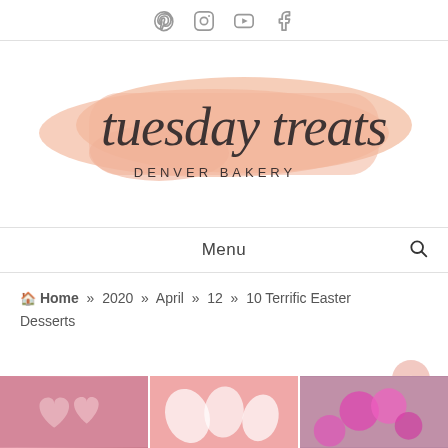Social icons: Pinterest, Instagram, YouTube, Facebook
[Figure (logo): Tuesday Treats Denver Bakery logo — cursive script 'tuesday treats' over a peach/salmon brushstroke background, with 'DENVER BAKERY' in small caps beneath]
Menu
Home » 2020 » April » 12 » 10 Terrific Easter Desserts
[Figure (photo): Three photos at the bottom: pink heart-shaped frosted cookies on a rack, Easter egg macarons on a pink background, bright pink flowers]